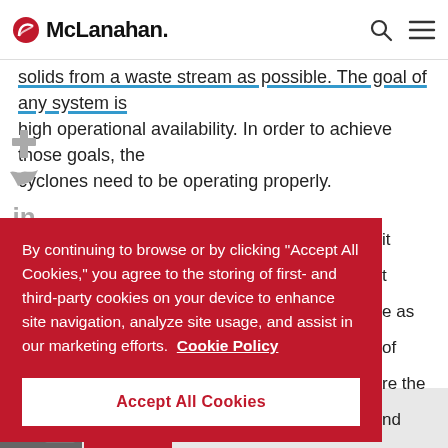McLanahan
solids from a waste stream as possible. The goal of any system is high operational availability. In order to achieve those goals, the cyclones need to be operating properly.
[Figure (screenshot): Cookie consent banner overlay on McLanahan website with red background. Text reads: By continuing to browse or by clicking "Accept All Cookies," you agree to the storing of first- and third-party cookies on your device to enhance site navigation, analyze site usage, and assist in our marketing efforts. Cookie Policy. Button: Accept All Cookies.]
it
t
e as
of
re the
nd